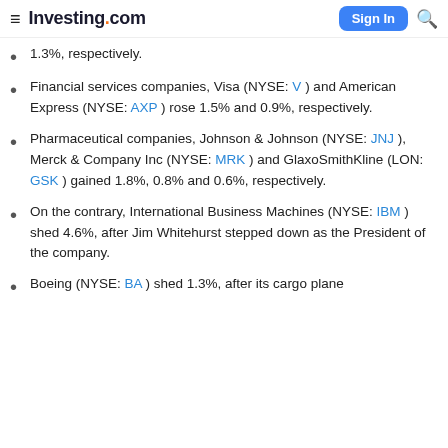Investing.com
1.3%, respectively.
Financial services companies, Visa (NYSE: V ) and American Express (NYSE: AXP ) rose 1.5% and 0.9%, respectively.
Pharmaceutical companies, Johnson & Johnson (NYSE: JNJ ), Merck & Company Inc (NYSE: MRK ) and GlaxoSmithKline (LON: GSK ) gained 1.8%, 0.8% and 0.6%, respectively.
On the contrary, International Business Machines (NYSE: IBM ) shed 4.6%, after Jim Whitehurst stepped down as the President of the company.
Boeing (NYSE: BA ) shed 1.3%, after its cargo plane